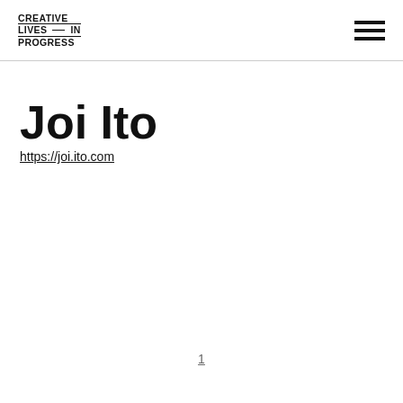CREATIVE LIVES—IN PROGRESS
Joi Ito
https://joi.ito.com
1